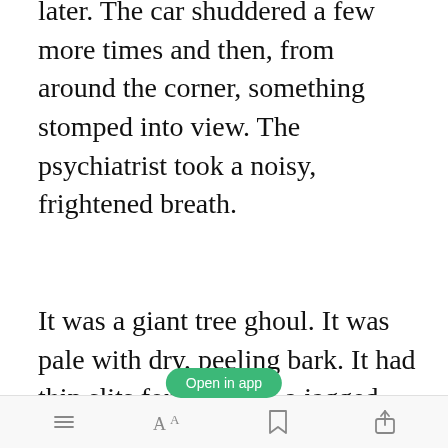later. The car shuddered a few more times and then, from around the corner, something stomped into view. The psychiatrist took a noisy, frightened breath.
It was a giant tree ghoul. It was pale with dry, peeling bark. It had thin slits for eyes and a jagged mouth like a jack-o-lantern. It had skinny limbs with long, bony fingers. Its
[Figure (screenshot): Green 'Open in app' button overlay on the text]
Toolbar with menu, font size, bookmark, and share icons